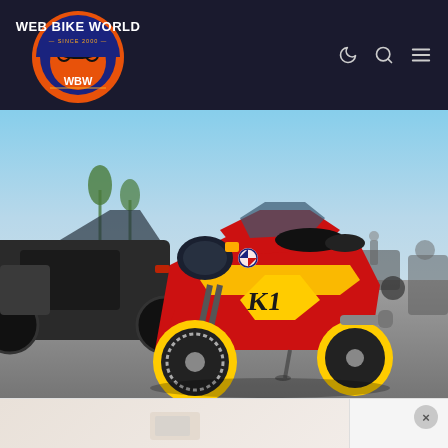[Figure (logo): Web Bike World logo — circular emblem with motorcycle silhouette, orange and navy blue colors, text WEB BIKE WORLD SINCE 2000 WBW]
[Figure (photo): Red and yellow BMW K1 sport motorcycle parked in a parking lot with other motorcycles visible in the background, blue sky and palm trees behind]
[Figure (other): Partial advertisement banner at bottom of page with a close/X button in the upper right corner]